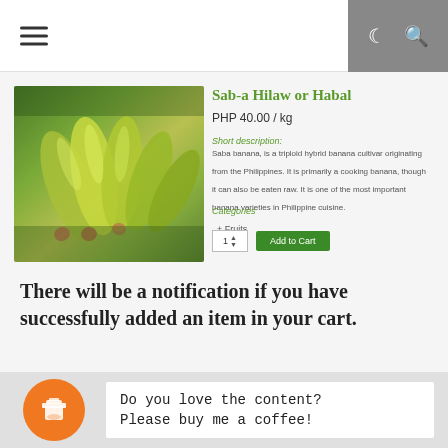☰ [hamburger menu] | [moon icon] [search icon]
[Figure (photo): Photo of Sab-a Hilaw or Habal bananas — green and yellow unripe bananas in a bunch]
Sab-a Hilaw or Habal
PHP 40.00 / kg
Short description:
Saba banana, is a triploid hybrid banana cultivar originating from the Philippines. It is primarily a cooking banana, though it can also be eaten raw. It is one of the most important banana varieties in Philippine cuisine.
Categories
  + Fruits
1 ↕  Add to Cart
There will be a notification if you have successfully added an item in your cart.
Do you love the content?
Please buy me a coffee!